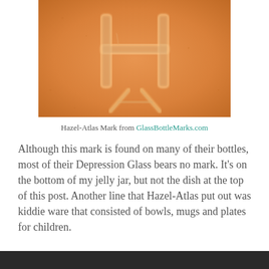[Figure (photo): Close-up photo of an orange/amber glass bottom showing the Hazel-Atlas embossed mark — a large letter H with a letter A beneath it, forming a combined logo, embossed into the glass surface.]
Hazel-Atlas Mark from GlassBottleMarks.com
Although this mark is found on many of their bottles, most of their Depression Glass bears no mark. It’s on the bottom of my jelly jar, but not the dish at the top of this post. Another line that Hazel-Atlas put out was kiddie ware that consisted of bowls, mugs and plates for children.
[Figure (photo): Partial view of another photo at the bottom of the page (cut off).]